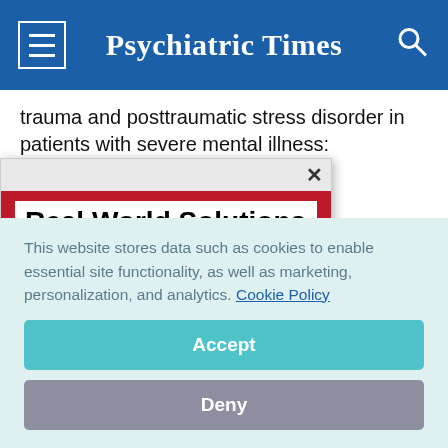Psychiatric Times
trauma and posttraumatic stress disorder in patients with severe mental illness: demographic, clinical, and health
[Figure (screenshot): Advertisement popup overlay with red background. Headline: 'Real World Solutions To Running Your Practice More Efficiently'. CTA button: 'Get Expert Insights!' with a close X button at top right.]
This website stores data such as cookies to enable essential site functionality, as well as marketing, personalization, and analytics. Cookie Policy
Accept
Deny